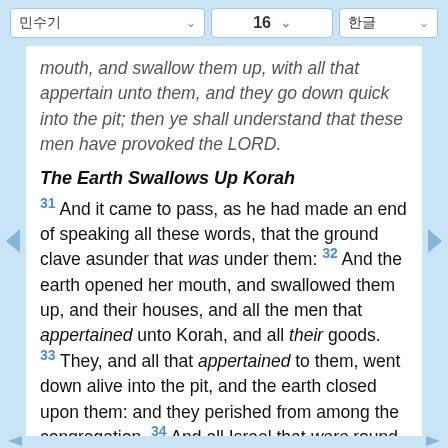민수기 | 16 | 한글
mouth, and swallow them up, with all that appertain unto them, and they go down quick into the pit; then ye shall understand that these men have provoked the LORD.
The Earth Swallows Up Korah
31 And it came to pass, as he had made an end of speaking all these words, that the ground clave asunder that was under them: 32 And the earth opened her mouth, and swallowed them up, and their houses, and all the men that appertained unto Korah, and all their goods. 33 They, and all that appertained to them, went down alive into the pit, and the earth closed upon them: and they perished from among the congregation. 34 And all Israel that were round about them fled at the cry of them: for they said, Lest the earth swallow us up also. 35 And